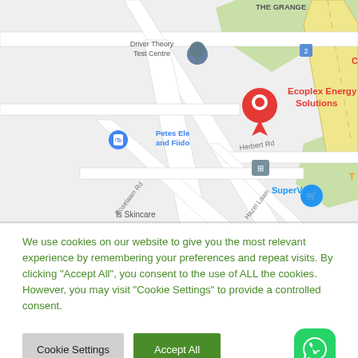[Figure (map): Google Maps screenshot showing Ecoplex Energy Solutions location marked with a red pin, with surrounding landmarks including Driver Theory Test Centre, Petes Ele and Fiido, SuperValu, The Grange, Herbert Rd, Roselawn Rd, Hazel Lawn roads visible]
We use cookies on our website to give you the most relevant experience by remembering your preferences and repeat visits. By clicking “Accept All”, you consent to the use of ALL the cookies. However, you may visit "Cookie Settings" to provide a controlled consent.
Cookie Settings
Accept All